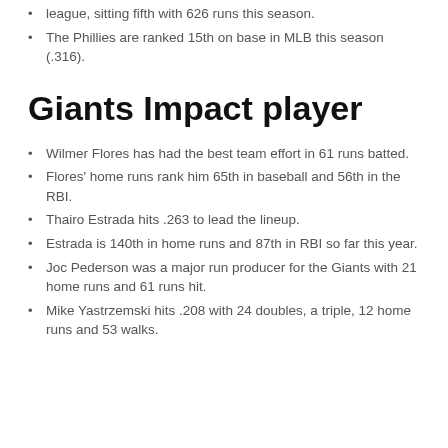league, sitting fifth with 626 runs this season.
The Phillies are ranked 15th on base in MLB this season (.316).
Giants Impact player
Wilmer Flores has had the best team effort in 61 runs batted.
Flores' home runs rank him 65th in baseball and 56th in the RBI.
Thairo Estrada hits .263 to lead the lineup.
Estrada is 140th in home runs and 87th in RBI so far this year.
Joc Pederson was a major run producer for the Giants with 21 home runs and 61 runs hit.
Mike Yastrzemski hits .208 with 24 doubles, a triple, 12 home runs and 53 walks.